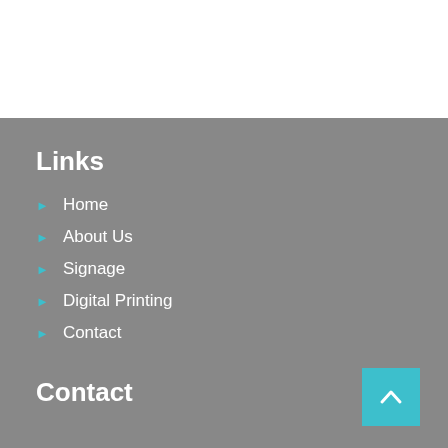Links
Home
About Us
Signage
Digital Printing
Contact
Contact